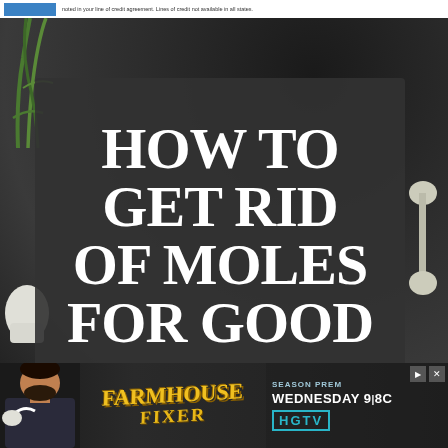noted in your line of credit agreement. Lines of credit not available in all states.
[Figure (photo): Outdoor photo of dark soil/garden background with green plant stems at top-left and white-gloved hands visible at edges. A dark chalkboard-style sign overlay reads 'HOW TO GET RID OF MOLES FOR GOOD' in large white bold text.]
[Figure (photo): Advertisement banner for HGTV's Farmhouse Fixer show. Features a man with dark hair and beard in a jacket, yellow stylized 'FARMHOUSE FIXER' text, and right side shows 'SEASON PREMIERE WEDNESDAY 9|8C' with HGTV logo in teal.]